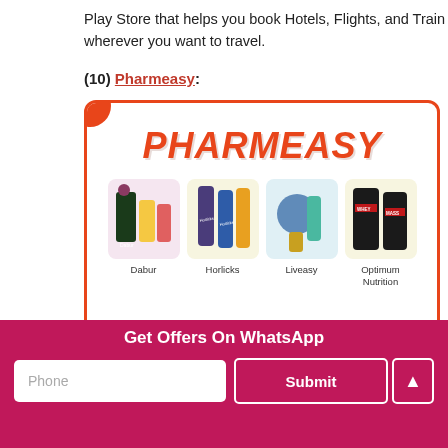Play Store that helps you book Hotels, Flights, and Train tickets wherever you want to travel.
(10) Pharmeasy:
[Figure (screenshot): Pharmeasy app screenshot showing the PHARMEASY logo in bold orange-red italic text with product category images below: Dabur (pink background), Horlicks (yellow background), Liveasy (blue background), Optimum Nutrition (yellow background), all inside a white card with orange-red border.]
Get Offers On WhatsApp
Phone
Submit